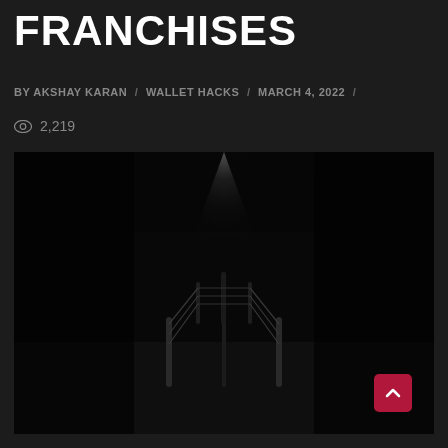FRANCHISES
BY AKSHAY KARAN / WALLET HACKS / MARCH 4, 2022 /
2,219
[Figure (photo): Dark atmospheric photo of an empty boxing ring lit by a single overhead spotlight, viewed from ringside at floor level. The ring ropes and corner posts are visible in the dim light against a very dark background.]